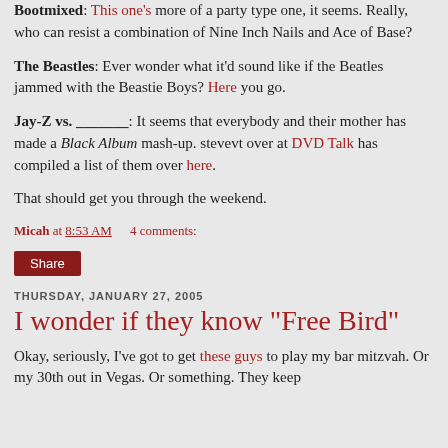Bootmixed: This one's more of a party type one, it seems. Really, who can resist a combination of Nine Inch Nails and Ace of Base?
The Beastles: Ever wonder what it'd sound like if the Beatles jammed with the Beastie Boys? Here you go.
Jay-Z vs. _______: It seems that everybody and their mother has made a Black Album mash-up. stevevt over at DVD Talk has compiled a list of them over here.
That should get you through the weekend.
Micah at 8:53 AM    4 comments:
Share
THURSDAY, JANUARY 27, 2005
I wonder if they know "Free Bird"
Okay, seriously, I've got to get these guys to play my bar mitzvah. Or my 30th out in Vegas. Or something. They keep